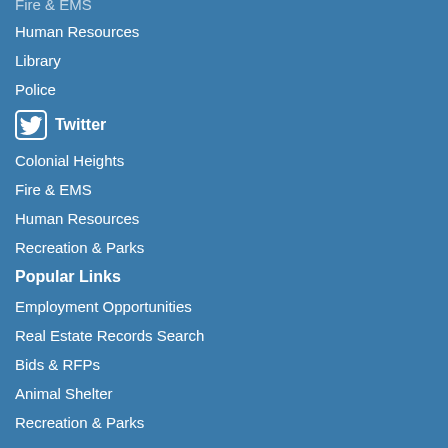Fire & EMS
Human Resources
Library
Police
Twitter
Colonial Heights
Fire & EMS
Human Resources
Recreation & Parks
Popular Links
Employment Opportunities
Real Estate Records Search
Bids & RFPs
Animal Shelter
Recreation & Parks